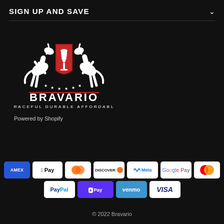SIGN UP AND SAVE
[Figure (logo): Bravario logo: two rearing horses flanking a red shield with a wine glass, text BRAVARIO and GRACEFUL DURABLE AFFORDABLE]
Powered by Shopify
[Figure (infographic): Payment method icons: American Express, Apple Pay, Diners Club, Discover, Meta Pay, Google Pay, Mastercard, PayPal, Shop Pay, Venmo, Visa]
© 2022 Bravario